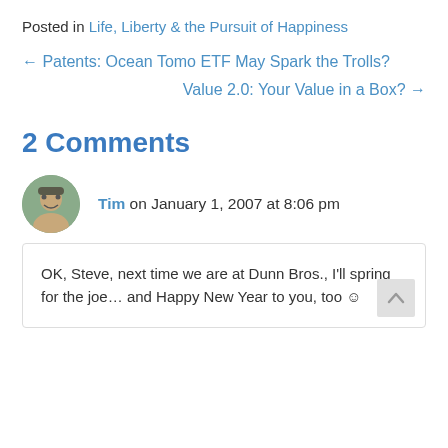Posted in Life, Liberty & the Pursuit of Happiness
← Patents: Ocean Tomo ETF May Spark the Trolls?
Value 2.0: Your Value in a Box? →
2 Comments
Tim on January 1, 2007 at 8:06 pm
OK, Steve, next time we are at Dunn Bros., I'll spring for the joe... and Happy New Year to you, too ☺